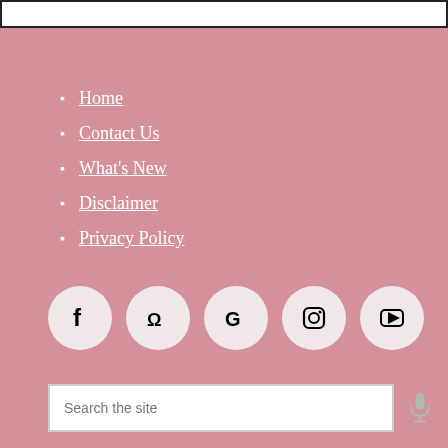[Figure (other): White bordered box at top of page]
Home
Contact Us
What's New
Disclaimer
Privacy Policy
[Figure (other): Five social media icons in circles: Facebook, Yelp, Google, Instagram, YouTube]
Schedule Appointment
Search the site